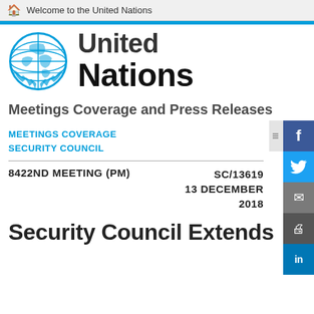Welcome to the United Nations
[Figure (logo): United Nations logo with globe emblem and 'United Nations' text in bold]
Meetings Coverage and Press Releases
MEETINGS COVERAGE
SECURITY COUNCIL
8422ND MEETING (PM)    SC/13619
13 DECEMBER
2018
Security Council Extends